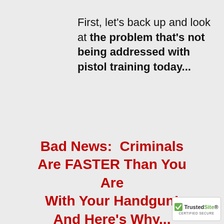First, let’s back up and look at the problem that’s not being addressed with pistol training today...
Bad News:  Criminals Are FASTER Than You Are With Your Handgun! And Here’s Why...
[Figure (logo): TrustedSite CERTIFIED SECURE badge with green checkmark]